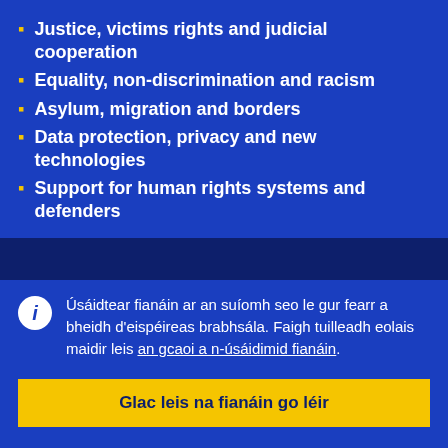Justice, victims rights and judicial cooperation
Equality, non-discrimination and racism
Asylum, migration and borders
Data protection, privacy and new technologies
Support for human rights systems and defenders
Úsáidtear fianáin ar an suíomh seo le gur fearr a bheidh d'eispéireas brabhsála. Faigh tuilleadh eolais maidir leis an gcaoi a n-úsáidimid fianáin.
Glac leis na fianáin go léir
Ná glac ach leis na fianáin riachtanacha